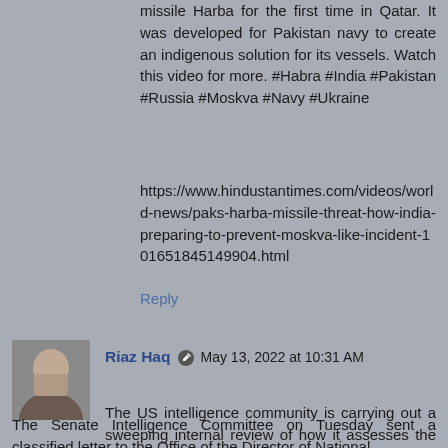missile Harba for the first time in Qatar. It was developed for Pakistan navy to create an indigenous solution for its vessels. Watch this video for more. #Habra #India #Pakistan #Russia #Moskva #Navy #Ukraine
https://www.hindustantimes.com/videos/world-news/paks-harba-missile-threat-how-india-preparing-to-prevent-moskva-like-incident-101651845149904.html
Reply
Riaz Haq  May 13, 2022 at 10:31 AM
The US intelligence community is carrying out a sweeping internal review of how it assesses the fighting power of foreign militaries amid mounting pressure from key lawmakers on Capitol Hill who say officials have failed twice in one year on the two major foreign policy crises faced by the Biden administration in Ukraine and Afghanistan.
The Senate Intelligence Committee on Tuesday sent a classified letter to the Office of the Director of National